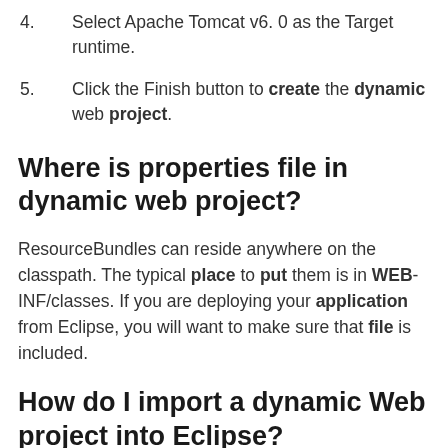4. Select Apache Tomcat v6. 0 as the Target runtime.
5. Click the Finish button to create the dynamic web project.
Where is properties file in dynamic web project?
ResourceBundles can reside anywhere on the classpath. The typical place to put them is in WEB-INF/classes. If you are deploying your application from Eclipse, you will want to make sure that file is included.
How do I import a dynamic Web project into Eclipse?